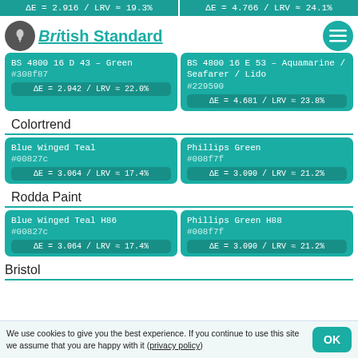ΔE = 2.916 / LRV ≈ 19.3%  |  ΔE = 4.766 / LRV ≈ 24.1%
British Standard
| BS 4800 16 D 43 – Green #308f87 | BS 4800 16 E 53 – Aquamarine / Seafarer / Lido #229590 |
| --- | --- |
| ΔE = 2.942 / LRV ≈ 22.0% | ΔE = 4.681 / LRV ≈ 23.8% |
Colortrend
| Blue Winged Teal #00827c | Phillips Green #008f7f |
| --- | --- |
| ΔE = 3.064 / LRV ≈ 17.4% | ΔE = 3.090 / LRV ≈ 21.2% |
Rodda Paint
| Blue Winged Teal H86 #00827c | Phillips Green H88 #008f7f |
| --- | --- |
| ΔE = 3.064 / LRV ≈ 17.4% | ΔE = 3.090 / LRV ≈ 21.2% |
Bristol
We use cookies to give you the best experience. If you continue to use this site we assume that you are happy with it (privacy policy)